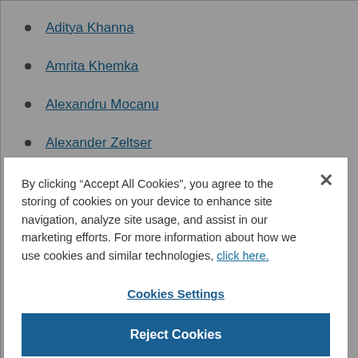Aditya Khanna
Amrita Khemka
Alexandru Mocanu
Alexander Zeltser
Allie Alperovich
David H. Saltzman
By clicking “Accept All Cookies”, you agree to the storing of cookies on your device to enhance site navigation, analyze site usage, and assist in our marketing efforts. For more information about how we use cookies and similar technologies, click here.
Cookies Settings
Reject Cookies
Accept All Cookies